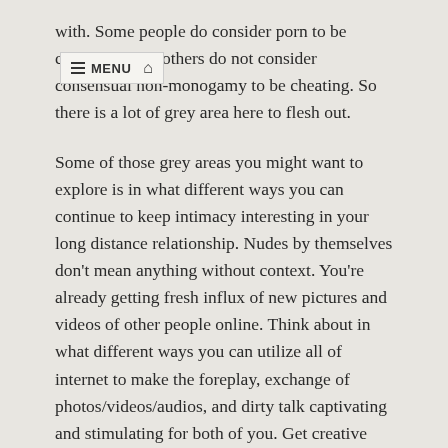with. Some people do consider porn to be cheating while others do not consider consensual non-monogamy to be cheating. So there is a lot of grey area here to flesh out.
Some of those grey areas you might want to explore is in what different ways you can continue to keep intimacy interesting in your long distance relationship. Nudes by themselves don't mean anything without context. You're already getting fresh influx of new pictures and videos of other people online. Think about in what different ways you can utilize all of internet to make the foreplay, exchange of photos/videos/audios, and dirty talk captivating and stimulating for both of you. Get creative with each other.
I really hope your conversations with your partner are fruitful. It is hard enough to do this walk with wholly consenting partners who are enthusiastic. So